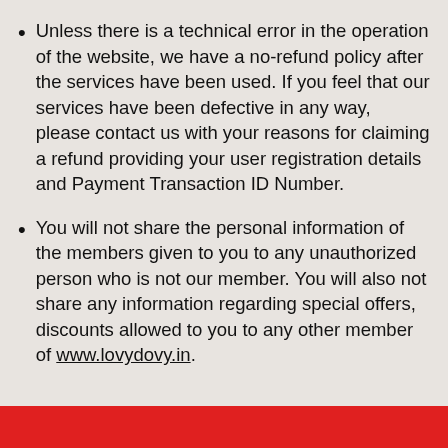Unless there is a technical error in the operation of the website, we have a no-refund policy after the services have been used. If you feel that our services have been defective in any way, please contact us with your reasons for claiming a refund providing your user registration details and Payment Transaction ID Number.
You will not share the personal information of the members given to you to any unauthorized person who is not our member. You will also not share any information regarding special offers, discounts allowed to you to any other member of www.lovydovy.in.